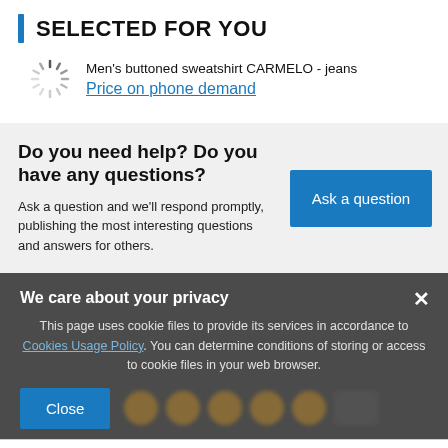SELECTED FOR YOU
Men's buttoned sweatshirt CARMELO - jeans
Price on phone demand
Do you need help? Do you have any questions?
Ask a question and we'll respond promptly, publishing the most interesting questions and answers for others.
Ask a question
We care about your privacy
This page uses cookie files to provide its services in accordance to Cookies Usage Policy. You can determine conditions of storing or access to cookie files in your web browser.
Close